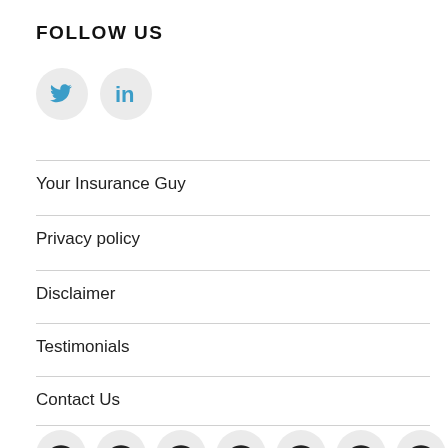FOLLOW US
[Figure (illustration): Twitter and LinkedIn social media icons as circular grey buttons with blue icons]
Your Insurance Guy
Privacy policy
Disclaimer
Testimonials
Contact Us
[Figure (illustration): Row of 8 circular grey icon buttons partially visible at bottom of page]